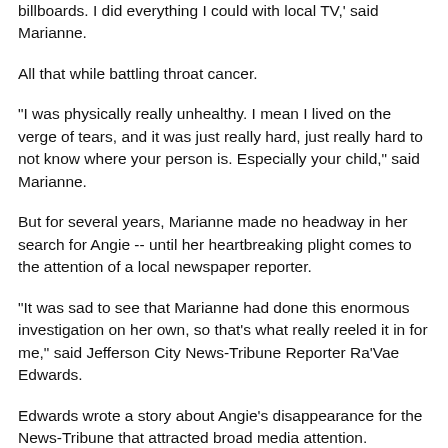billboards. I did everything I could with local TV,' said Marianne.
All that while battling throat cancer.
"I was physically really unhealthy. I mean I lived on the verge of tears, and it was just really hard, just really hard to not know where your person is. Especially your child," said Marianne.
But for several years, Marianne made no headway in her search for Angie -- until her heartbreaking plight comes to the attention of a local newspaper reporter.
"It was sad to see that Marianne had done this enormous investigation on her own, so that's what really reeled it in for me," said Jefferson City News-Tribune Reporter Ra'Vae Edwards.
Edwards wrote a story about Angie's disappearance for the News-Tribune that attracted broad media attention.